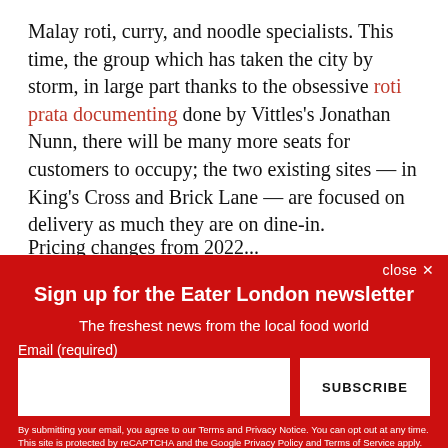Malay roti, curry, and noodle specialists. This time, the group which has taken the city by storm, in large part thanks to the obsessive roti prata documenting done by Vittles's Jonathan Nunn, there will be many more seats for customers to occupy; the two existing sites — in King's Cross and Brick Lane — are focused on delivery as much they are on dine-in.
Pricing changes from 2022...
close ✕
Sign up for the Eater London newsletter
The freshest news from the local food world
Email (required)
SUBSCRIBE
By submitting your email, you agree to our Terms and Privacy Notice. You can opt out at any time. This site is protected by reCAPTCHA and the Google Privacy Policy and Terms of Service apply.